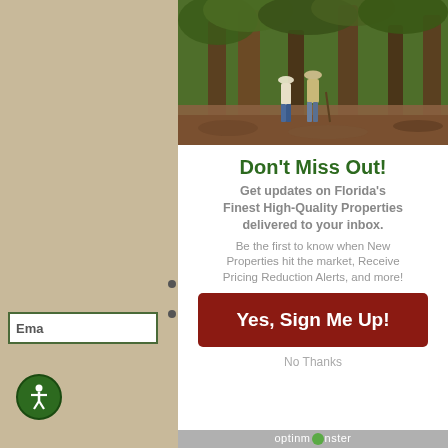[Figure (photo): Two people walking among large trees in a Florida forest/natural landscape, viewed from behind, green foliage and reddish-brown ground.]
Don't Miss Out!
Get updates on Florida's Finest High-Quality Properties delivered to your inbox.
Be the first to know when New Properties hit the market, Receive Pricing Reduction Alerts, and more!
Yes, Sign Me Up!
No Thanks
optinmonster